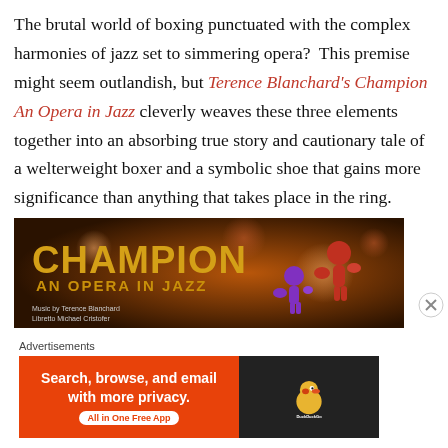The brutal world of boxing punctuated with the complex harmonies of jazz set to simmering opera?  This premise might seem outlandish, but Terence Blanchard's Champion An Opera in Jazz cleverly weaves these three elements together into an absorbing true story and cautionary tale of a welterweight boxer and a symbolic shoe that gains more significance than anything that takes place in the ring.
[Figure (illustration): Promotional banner image for 'Champion: An Opera in Jazz' by Terence Blanchard. Dark brown/orange background with glowing bokeh lights. Bold golden/yellow text reads 'CHAMPION' in large letters. Below in smaller golden text: 'AN OPERA IN JAZZ'. Stylized purple and red human figures appear to be boxing. Bottom left text: 'Music by Terence Blanchard / Libretto Michael Cristofer'.]
Advertisements
[Figure (screenshot): Advertisement banner for DuckDuckGo. Orange background on left side with white bold text: 'Search, browse, and email with more privacy.' Smaller text: 'All in One Free App'. White pill-shaped button with orange text: 'All in One Free App'. Right side has dark background with DuckDuckGo duck logo.]